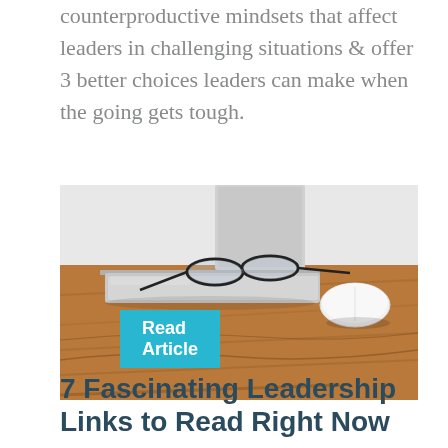counterproductive mindsets that affect leaders in challenging situations & offer 3 better choices leaders can make when the going gets tough.
Read Article
[Figure (photo): A wooden desk with a closed silver laptop, a pair of black glasses resting on top, and a white Apple Magic Mouse to the right.]
7 Fascinating Leadership Links to Read Right Now